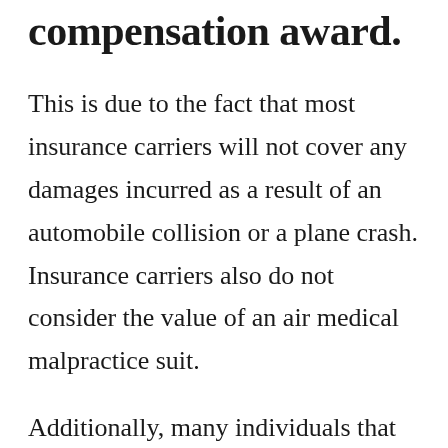compensation award.
This is due to the fact that most insurance carriers will not cover any damages incurred as a result of an automobile collision or a plane crash. Insurance carriers also do not consider the value of an air medical malpractice suit.
Additionally, many individuals that choose to file these types of lawsuits will be unsuccessful. The majority of these